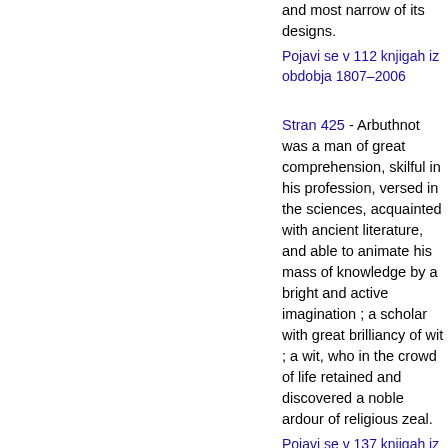and most narrow of its designs.
Pojavi se v 112 knjigah iz obdobja 1807–2006
Stran 425 - Arbuthnot was a man of great comprehension, skilful in his profession, versed in the sciences, acquainted with ancient literature, and able to animate his mass of knowledge by a bright and active imagination ; a scholar with great brilliancy of wit ; a wit, who in the crowd of life retained and discovered a noble ardour of religious zeal.
Pojavi se v 137 knjigah iz obdobja 1781–2007